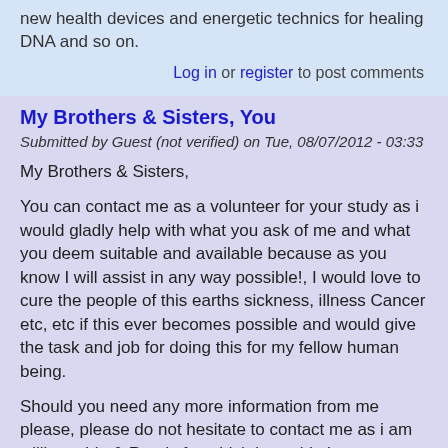new health devices and energetic technics for healing DNA and so on.
Log in or register to post comments
My Brothers & Sisters, You
Submitted by Guest (not verified) on Tue, 08/07/2012 - 03:33
My Brothers & Sisters,
You can contact me as a volunteer for your study as i would gladly help with what you ask of me and what you deem suitable and available because as you know I will assist in any way possible!, I would love to cure the people of this earths sickness, illness Cancer etc, etc if this ever becomes possible and would give the task and job for doing this for my fellow human being.
Should you need any more information from me please, please do not hesitate to contact me as i am willing, able & Ready for which it would give me great joy, pleasure